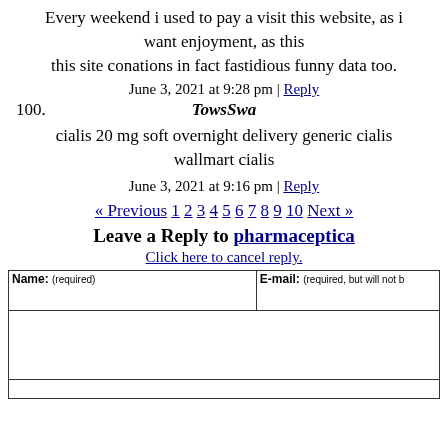Every weekend i used to pay a visit this website, as i want enjoyment, as this this site conations in fact fastidious funny data too.
June 3, 2021 at 9:28 pm | Reply
100. TowsSwa
cialis 20 mg soft overnight delivery generic cialis wallmart cialis
June 3, 2021 at 9:16 pm | Reply
« Previous 1 2 3 4 5 6 7 8 9 10 Next »
Leave a Reply to pharmaceptica
Click here to cancel reply.
| Name: (required) | E-mail: (required, but will not be published) |
| --- | --- |
|  |  |
| (message area) |  |